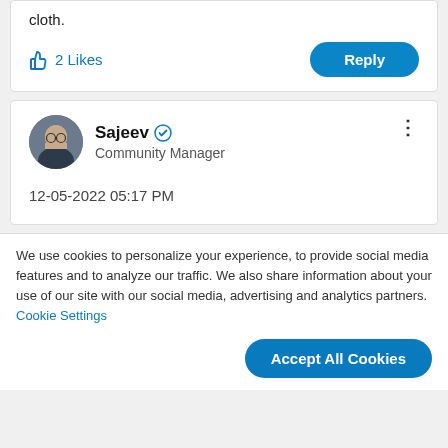cloth.
2 Likes
Reply
Sajeev ✓ Community Manager
12-05-2022 05:17 PM
We use cookies to personalize your experience, to provide social media features and to analyze our traffic. We also share information about your use of our site with our social media, advertising and analytics partners. Cookie Settings
Accept All Cookies